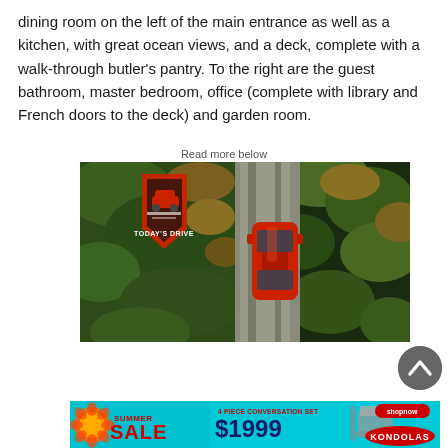dining room on the left of the main entrance as well as a kitchen, with great ocean views, and a deck, complete with a walk-through butler's pantry. To the right are the guest bathroom, master bedroom, office (complete with library and French doors to the deck) and garden room.
Read more below
[Figure (photo): Aerial view of a red car driving on a road surrounded by green trees and foliage, with a Today's Drive logo in the upper left corner of the image.]
[Figure (photo): Advertisement banner for Kondolas furniture store, Summer Sale, showing outdoor patio furniture set for $1999, with colorful summer sale branding and Shopnow button.]